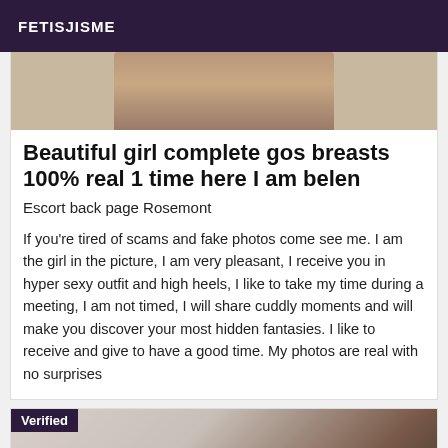FETISJISME
[Figure (photo): Partial photo of a person, cropped at top]
Beautiful girl complete gos breasts 100% real 1 time here I am belen
Escort back page Rosemont
If you're tired of scams and fake photos come see me. I am the girl in the picture, I am very pleasant, I receive you in hyper sexy outfit and high heels, I like to take my time during a meeting, I am not timed, I will share cuddly moments and will make you discover your most hidden fantasies. I like to receive and give to have a good time. My photos are real with no surprises
[Figure (photo): Photo with Verified badge overlay]